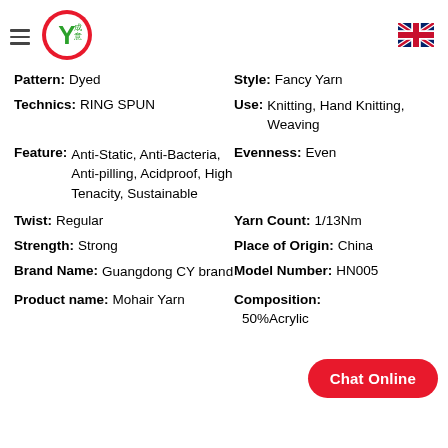[Figure (logo): Company logo with red circle, green Y shape, and Chinese characters, with hamburger menu icon to the left]
[Figure (illustration): UK flag icon in top right corner]
Pattern: Dyed   Style: Fancy Yarn
Technics: RING SPUN   Use: Knitting, Hand Knitting, Weaving
Feature: Anti-Static, Anti-Bacteria, Anti-pilling, Acidproof, High Tenacity, Sustainable   Evenness: Even
Twist: Regular   Yarn Count: 1/13Nm
Strength: Strong   Place of Origin: China
Brand Name: Guangdong CY brand   Model Number: HN005
Product name: Mohair Yarn   Composition: 50%Acrylic